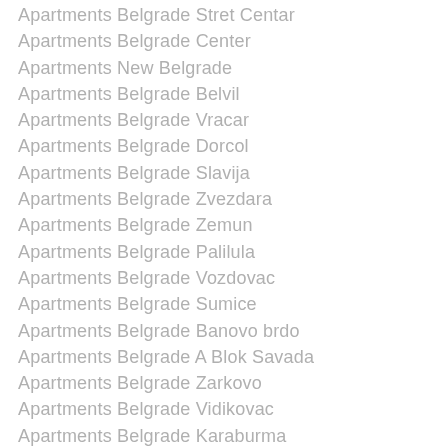Apartments Belgrade Stret Centar
Apartments Belgrade Center
Apartments New Belgrade
Apartments Belgrade Belvil
Apartments Belgrade Vracar
Apartments Belgrade Dorcol
Apartments Belgrade Slavija
Apartments Belgrade Zvezdara
Apartments Belgrade Zemun
Apartments Belgrade Palilula
Apartments Belgrade Vozdovac
Apartments Belgrade Sumice
Apartments Belgrade Banovo brdo
Apartments Belgrade A Blok Savada
Apartments Belgrade Zarkovo
Apartments Belgrade Vidikovac
Apartments Belgrade Karaburma
Apartments Belgrade Savski venac
Apartments Belgrade Belgrade Waterfront